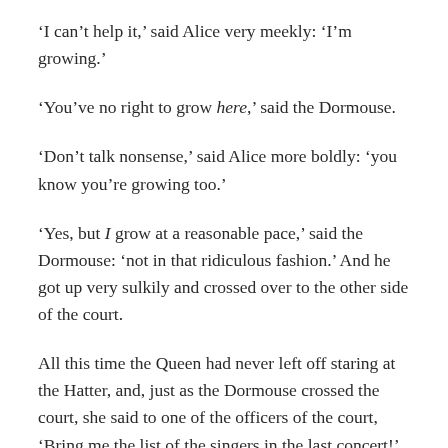‘I can’t help it,’ said Alice very meekly: ‘I’m growing.’
‘You’ve no right to grow here,’ said the Dormouse.
‘Don’t talk nonsense,’ said Alice more boldly: ‘you know you’re growing too.’
‘Yes, but I grow at a reasonable pace,’ said the Dormouse: ‘not in that ridiculous fashion.’ And he got up very sulkily and crossed over to the other side of the court.
All this time the Queen had never left off staring at the Hatter, and, just as the Dormouse crossed the court, she said to one of the officers of the court, ‘Bring me the list of the singers in the last concert!’ on which the wretched Hatter trembled so, that he shook both his shoes off.